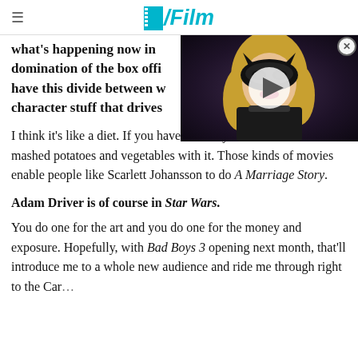≡  /Film
what's happening now in ... domination of the box offi... have this divide between w... character stuff that drives...
[Figure (screenshot): Video thumbnail showing a woman in a black mask/catwoman costume with blonde hair, with a play button overlay. Close button (X in circle) in top-right corner.]
I think it's like a diet. If you have a steak you need a little bit of mashed potatoes and vegetables with it. Those kinds of movies enable people like Scarlett Johansson to do A Marriage Story.
Adam Driver is of course in Star Wars.
You do one for the art and you do one for the money and exposure. Hopefully, with Bad Boys 3 opening next month, that'll introduce me to a whole new audience and ride me through right to the Car...